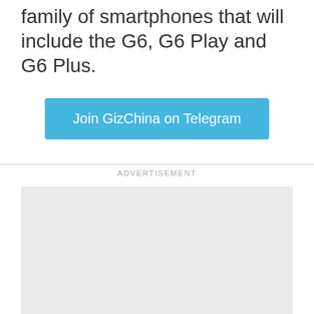family of smartphones that will include the G6, G6 Play and G6 Plus.
[Figure (other): Blue button labeled 'Join GizChina on Telegram']
ADVERTISEMENT
[Figure (other): Advertisement placeholder area with light gray background]